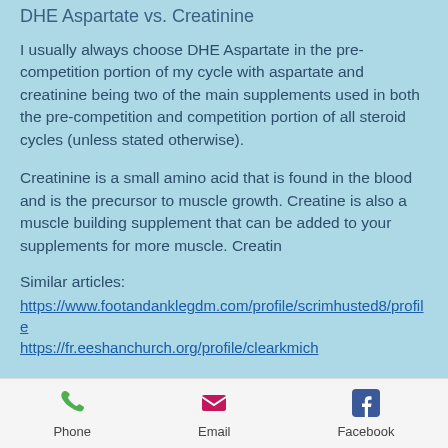DHE Aspartate vs. Creatinine
I usually always choose DHE Aspartate in the pre-competition portion of my cycle with aspartate and creatinine being two of the main supplements used in both the pre-competition and competition portion of all steroid cycles (unless stated otherwise).
Creatinine is a small amino acid that is found in the blood and is the precursor to muscle growth. Creatine is also a muscle building supplement that can be added to your supplements for more muscle. Creatin
Similar articles:
https://www.footandanklegdm.com/profile/scrimhusted8/profile
https://fr.eeshanchurch.org/profile/clearkmich
Phone   Email   Facebook